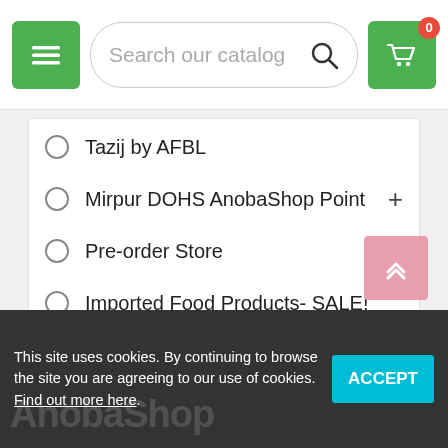Search our catalog
Tazij by AFBL
Mirpur DOHS AnobaShop Point
Pre-order Store
Imported Food Products- SALE!
Boya Store- 100% original
Kids & Moms
Priority Store
Free Gift! ফ্রি গিফট পান সাথে আনোবাশপ
This site uses cookies. By continuing to browse the site you are agreeing to our use of cookies. Find out more here.